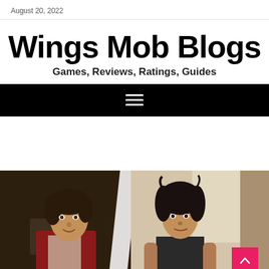August 20, 2022
Wings Mob Blogs
Games, Reviews, Ratings, Guides
[Figure (other): Black navigation bar with hamburger menu icon (three white horizontal lines)]
[Figure (photo): Movie still showing two figures: on the left a man in a red leather jacket with dark curly hair, and on the right a woman with messy dark hair. Still appears to be from Fight Club.]